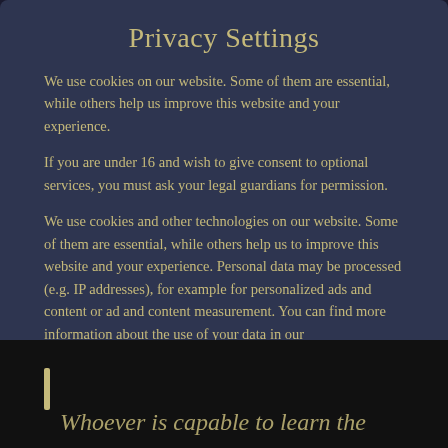Privacy Settings
We use cookies on our website. Some of them are essential, while others help us improve this website and your experience.
If you are under 16 and wish to give consent to optional services, you must ask your legal guardians for permission.
We use cookies and other technologies on our website. Some of them are essential, while others help us to improve this website and your experience. Personal data may be processed (e.g. IP addresses), for example for personalized ads and content or ad and content measurement. You can find more information about the use of your data in our
Essential (checked)
Statistics (unchecked)
Marketing (unchecked)
External Media (unchecked)
Whoever is capable to learn the